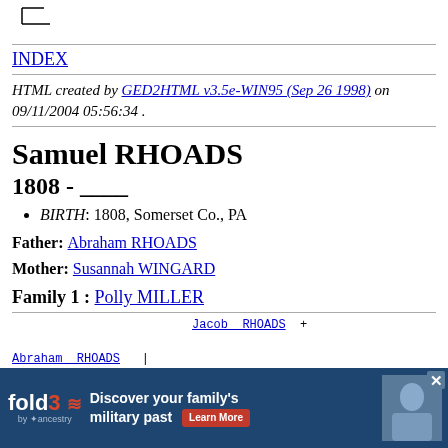[Figure (other): Genealogy tree diagram fragment showing lines connecting family members]
INDEX
HTML created by GED2HTML v3.5e-WIN95 (Sep 26 1998) on 09/11/2004 05:56:34 .
Samuel RHOADS
1808 - ____
BIRTH: 1808, Somerset Co., PA
Father: Abraham RHOADS
Mother: Susannah WINGARD
Family 1 : Polly MILLER
[Figure (other): Genealogy tree diagram showing Jacob RHOADS, Abraham RHOADS, and Samuel RHOADS with connecting lines and plus sign]
[Figure (other): Fold3 by Ancestry advertisement overlay: Discover your family's military past - Learn More button]